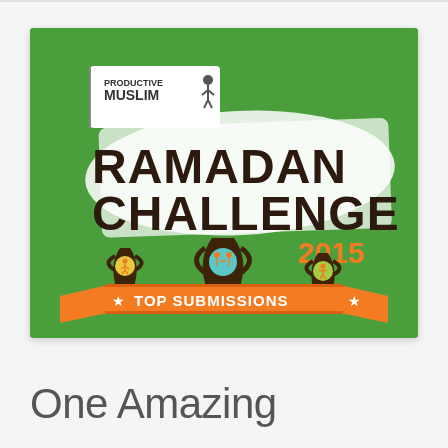[Figure (illustration): Promotional banner image for 'Productive Muslim Ramadan Challenge 2015 – Top Submissions'. Green background with the Productive Muslim logo (flag with person icon), large bold text 'RAMADAN CHALLENGE' in dark brown/black with white grunge brushstroke behind it, year '2015' in orange, three trophy icons with colored circles showing stick figures (yellow, teal, green), and an orange ribbon banner at the bottom reading 'TOP SUBMISSIONS' with stars.]
One Amazing